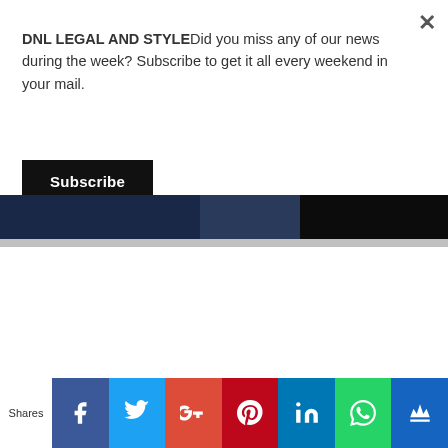DNL LEGAL AND STYLEDid you miss any of our news during the week? Subscribe to get it all every weekend in your mail.
[Figure (screenshot): Partial screenshot showing a dark image strip (appears to be a fashion/style photo with dark tones)]
Shares